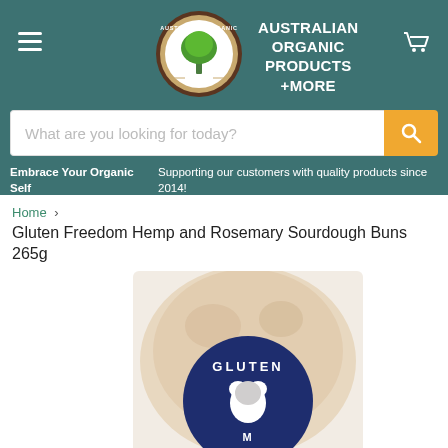[Figure (logo): Australian Organic Products circular logo with tree inside brown/gold circular border, white background]
AUSTRALIAN ORGANIC PRODUCTS +MORE
[Figure (other): Cart icon (white outline shopping cart) in top right of header]
What are you looking for today?
Embrace Your Organic Self   Supporting our customers with quality products since 2014!
Home > Gluten Freedom Hemp and Rosemary Sourdough Buns 265g
[Figure (photo): Close-up photo of a bread bun with a round dark navy blue label reading GLUTEN (Freedom) with a white koala illustration, on a light beige background]